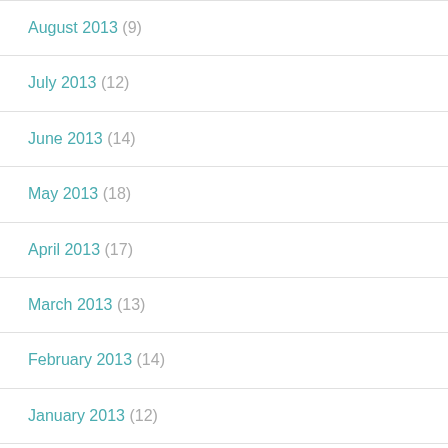August 2013 (9)
July 2013 (12)
June 2013 (14)
May 2013 (18)
April 2013 (17)
March 2013 (13)
February 2013 (14)
January 2013 (12)
December 2012 (13)
November 2012 (10)